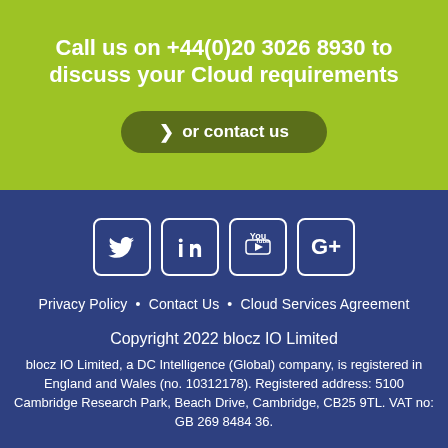Call us on +44(0)20 3026 8930 to discuss your Cloud requirements
› or contact us
[Figure (other): Social media icons: Twitter, LinkedIn, YouTube, Google+]
Privacy Policy  •  Contact Us  •  Cloud Services Agreement
Copyright 2022 blocz IO Limited
blocz IO Limited, a DC Intelligence (Global) company, is registered in England and Wales (no. 10312178). Registered address: 5100 Cambridge Research Park, Beach Drive, Cambridge, CB25 9TL. VAT no: GB 269 8484 36.